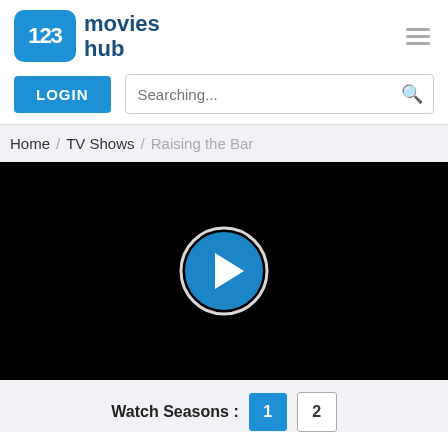[Figure (logo): 123 movies hub logo — blue rounded square with '123' in white, next to dark blue text 'movies hub']
LOGIN
Searching...
Home / TV Shows / Raising the Bar
[Figure (screenshot): Black video player area with a blue and white circular play button in the center]
Watch Seasons : 1 2